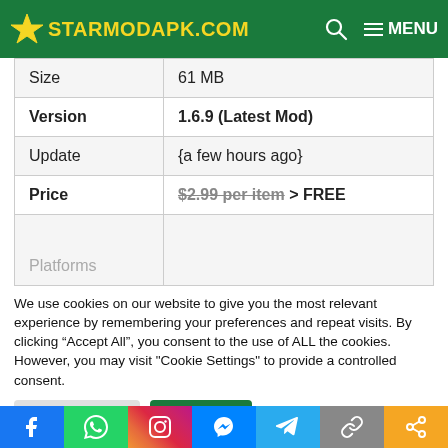STARMODAPK.COM
| Size | 61 MB |
| Version | 1.6.9 (Latest Mod) |
| Update | {a few hours ago} |
| Price | $2.99 per item > FREE |
| Platforms |  |
We use cookies on our website to give you the most relevant experience by remembering your preferences and repeat visits. By clicking “Accept All”, you consent to the use of ALL the cookies. However, you may visit "Cookie Settings" to provide a controlled consent.
Cookie Settings | Accept All